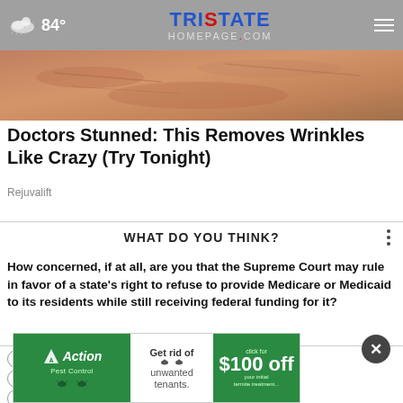84° | TRISTATE HOMEPAGE.com
[Figure (photo): Close-up photo of a person's skin with wrinkles, used as article thumbnail]
Doctors Stunned: This Removes Wrinkles Like Crazy (Try Tonight)
Rejuvalift
WHAT DO YOU THINK?
How concerned, if at all, are you that the Supreme Court may rule in favor of a state's right to refuse to provide Medicare or Medicaid to its residents while still receiving federal funding for it?
Very concerned
Somewhat concerned
Not at all concerned
[Figure (other): Action Pest Control advertisement banner: Get rid of unwanted tenants. Click for $100 off your initial termite treatment.]